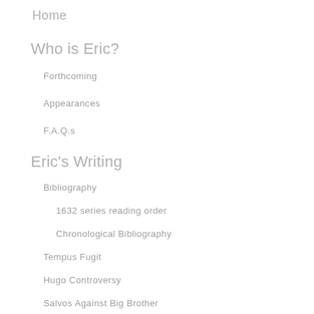Home
Who is Eric?
Forthcoming
Appearances
F.A.Q.s
Eric's Writing
Bibliography
1632 series reading order
Chronological Bibliography
Tempus Fugit
Hugo Controversy
Salvos Against Big Brother
The Editor's Page
Snippets